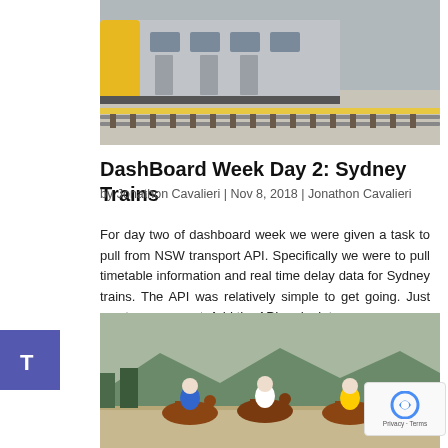[Figure (photo): A yellow and grey commuter train at a station platform with railway tracks visible]
DashBoard Week Day 2: Sydney Trains
by Jonathon Cavalieri | Nov 8, 2018 | Jonathon Cavalieri
For day two of dashboard week we were given a task to pull from NSW transport API. Specifically we were to pull timetable information and real time delay data for Sydney trains. The API was relatively simple to get going. Just create an account. Add the API endpoints...
[Figure (photo): Horse racing scene with multiple jockeys in colorful outfits racing on a track with mountains in the background]